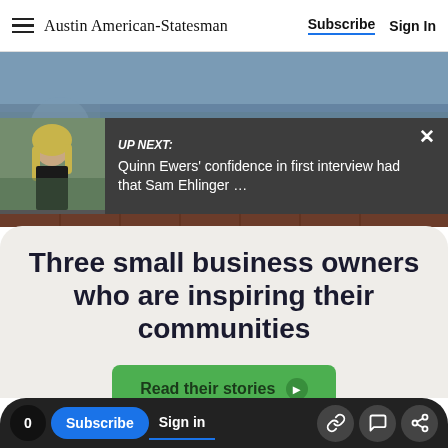Austin American-Statesman | Subscribe | Sign In
[Figure (screenshot): Hero photo showing a wooden counter/bar surface from outside]
[Figure (screenshot): Up Next banner with photo of Quinn Ewers and text overlay]
UP NEXT: Quinn Ewers' confidence in first interview had that Sam Ehlinger …
Three small business owners who are inspiring their communities
Read their stories ▶
0 | Subscribe | Sign in